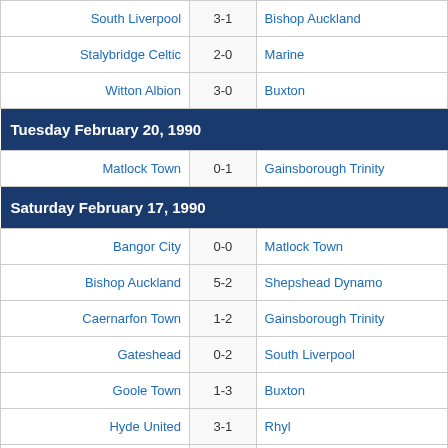| Home | Score | Away |
| --- | --- | --- |
| South Liverpool | 3-1 | Bishop Auckland |
| Stalybridge Celtic | 2-0 | Marine |
| Witton Albion | 3-0 | Buxton |
| Tuesday February 20, 1990 |  |  |
| Matlock Town | 0-1 | Gainsborough Trinity |
| Saturday February 17, 1990 |  |  |
| Bangor City | 0-0 | Matlock Town |
| Bishop Auckland | 5-2 | Shepshead Dynamo |
| Caernarfon Town | 1-2 | Gainsborough Trinity |
| Gateshead | 0-2 | South Liverpool |
| Goole Town | 1-3 | Buxton |
| Hyde United | 3-1 | Rhyl |
| Morecambe | 3-2 | Witton Albion |